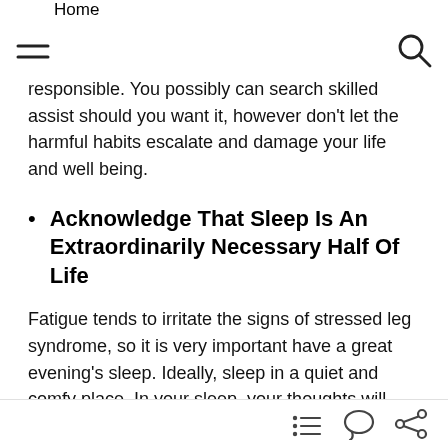Home
responsible. You possibly can search skilled assist should you want it, however don't let the harmful habits escalate and damage your life and well being.
Acknowledge That Sleep Is An Extraordinarily Necessary Half Of Life
Fatigue tends to irritate the signs of stressed leg syndrome, so it is very important have a great evening's sleep. Ideally, sleep in a quiet and comfy place. In your sleep, your thoughts will proceed to